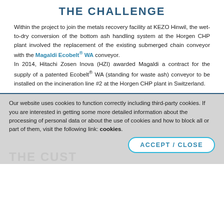THE CHALLENGE
Within the project to join the metals recovery facility at KEZO Hinwil, the wet-to-dry conversion of the bottom ash handling system at the Horgen CHP plant involved the replacement of the existing submerged chain conveyor with the Magaldi Ecobelt® WA conveyor.
In 2014, Hitachi Zosen Inova (HZI) awarded Magaldi a contract for the supply of a patented Ecobelt® WA (standing for waste ash) conveyor to be installed on the incineration line #2 at the Horgen CHP plant in Switzerland.
Our website uses cookies to function correctly including third-party cookies. If you are interested in getting some more detailed information about the processing of personal data or about the use of cookies and how to block all or part of them, visit the following link: cookies.